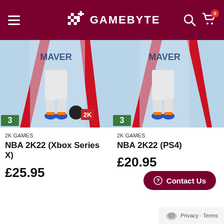GAMEBYTE
[Figure (screenshot): NBA 2K22 Xbox Series X game cover art showing basketball player with Mavericks branding, PEGI 3 rating, NBA and 2K logos]
2K GAMES
NBA 2K22 (Xbox Series X)
£25.95
[Figure (screenshot): NBA 2K22 PS4 game cover art showing basketball player with Mavericks branding, PEGI 3 rating (partially cropped)]
2K GAMES
NBA 2K22 (PS4)
£20.95